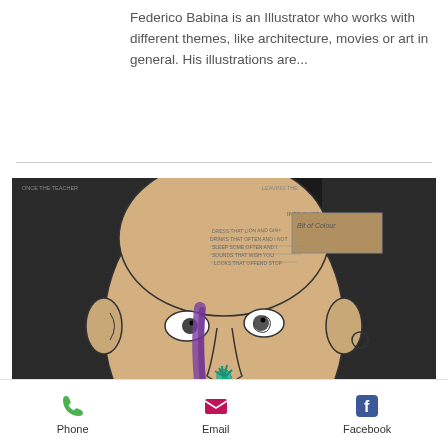Federico Babina is an Illustrator who works with different themes, like architecture, movies or art in general. His illustrations are...
[Figure (illustration): A drawing/illustration of a human face on cardboard with handwritten text, purple and teal marker strokes, dark background, open mouth showing teeth]
Phone   Email   Facebook